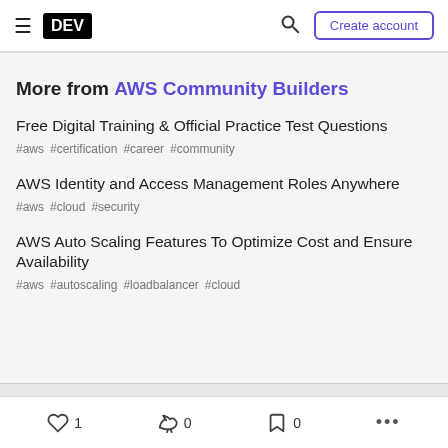DEV | Create account
More from AWS Community Builders
Free Digital Training & Official Practice Test Questions
#aws #certification #career #community
AWS Identity and Access Management Roles Anywhere
#aws #cloud #security
AWS Auto Scaling Features To Optimize Cost and Ensure Availability
#aws #autoscaling #loadbalancer #cloud
1   0   0   ...